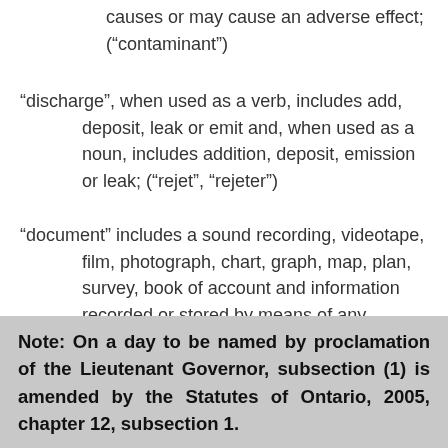causes or may cause an adverse effect; (“contaminant”)
“discharge”, when used as a verb, includes add, deposit, leak or emit and, when used as a noun, includes addition, deposit, emission or leak; (“rejet”, “rejeter”)
“document” includes a sound recording, videotape, film, photograph, chart, graph, map, plan, survey, book of account and information recorded or stored by means of any device; (“document”)
Note: On a day to be named by proclamation of the Lieutenant Governor, subsection (1) is amended by the Statutes of Ontario, 2005, chapter 12, subsection 1.